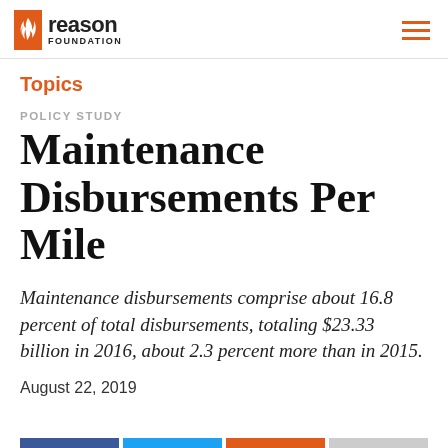Reason Foundation
Topics
POLICY STUDY
Maintenance Disbursements Per Mile
Maintenance disbursements comprise about 16.8 percent of total disbursements, totaling $23.33 billion in 2016, about 2.3 percent more than in 2015.
August 22, 2019